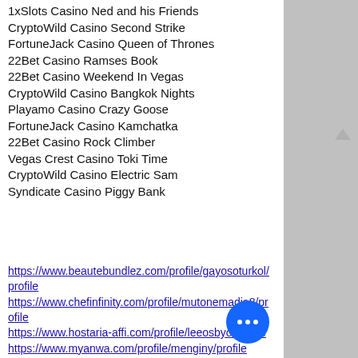1xSlots Casino Ned and his Friends
CryptoWild Casino Second Strike
FortuneJack Casino Queen of Thrones
22Bet Casino Ramses Book
22Bet Casino Weekend In Vegas
CryptoWild Casino Bangkok Nights
Playamo Casino Crazy Goose
FortuneJack Casino Kamchatka
22Bet Casino Rock Climber
Vegas Crest Casino Toki Time
CryptoWild Casino Electric Sam
Syndicate Casino Piggy Bank
https://www.beautebundlez.com/profile/gayosoturkol/profile
https://www.chefinfinity.com/profile/mutonemadia8/profile
https://www.hostaria-affi.com/profile/leeosbyo/profile
https://www.myanwa.com/profile/menginy/profile